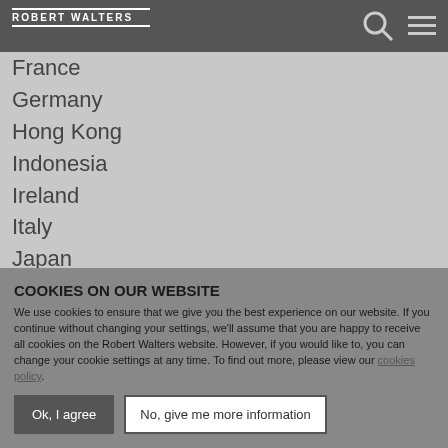ROBERT WALTERS
Brazil
France
Germany
Hong Kong
Indonesia
Ireland
Italy
Japan
Mainland China
Malaysia
Mexico
Middle East
COOKIES ON OUR WEBSITE
We use cookies to ensure that we give you the best experience on our website. If you continue without changing your settings, we'll assume that you are happy to receive all cookies on the Robert Walters website. However, if you would like to, you can change your cookie settings at any time. To find out more, please view our cookies policy.
Ok, I agree | No, give me more information